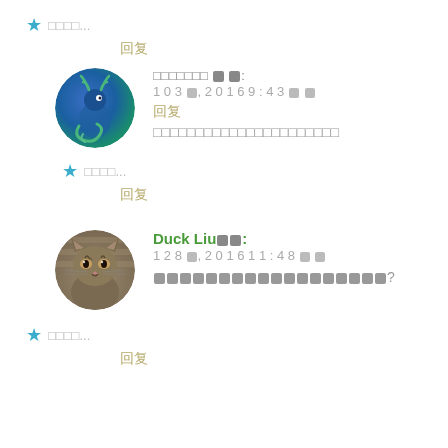★ □□□□...
回复
[Figure (illustration): Circular avatar with deer/phoenix illustration in blue and green tones]
□□□□□□□ ✕ ✕: 10 3 ✕, 2016 9:43 ✕ ✕
回复
□□□□□□□□□□□□□□□□□□□□□□
★ □□□□...
回复
[Figure (photo): Circular avatar photo of a Scottish Fold kitten with striped fur]
Duck Liu✕✕: 12 8 ✕, 2016 11:48 ✕ ✕
✕✕✕✕✕✕✕✕✕✕✕✕✕✕✕✕✕✕?
★ □□□□...
回复